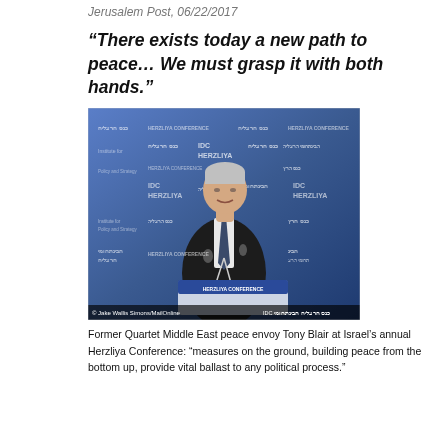Jerusalem Post, 06/22/2017
“There exists today a new path to peace… We must grasp it with both hands.”
[Figure (photo): Former Quartet Middle East peace envoy Tony Blair speaking at a podium at Israel's annual Herzliya Conference, with a blue backdrop bearing IDC Herzliya and Herzliya Conference branding logos in Hebrew and English. A microphone is visible in the foreground. Photo credited to Jake Wallis Simons/MailOnline.]
Former Quartet Middle East peace envoy Tony Blair at Israel’s annual Herzliya Conference: “measures on the ground, building peace from the bottom up, provide vital ballast to any political process.”